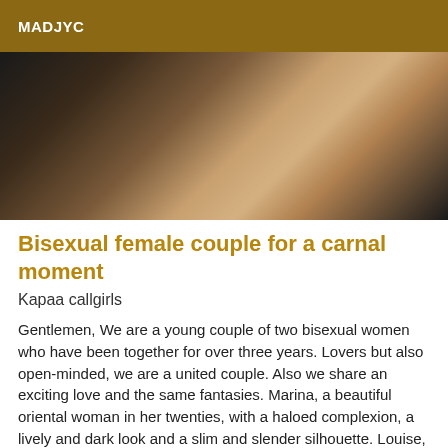MADJYC
[Figure (photo): Photo showing legs and feet of two people on a dark floor near a white wall or door frame]
Bisexual female couple for a carnal moment
Kapaa callgirls
Gentlemen, We are a young couple of two bisexual women who have been together for over three years. Lovers but also open-minded, we are a united couple. Also we share an exciting love and the same fantasies. Marina, a beautiful oriental woman in her twenties, with a haloed complexion, a lively and dark look and a slim and slender silhouette. Louise, twenty two years old, a